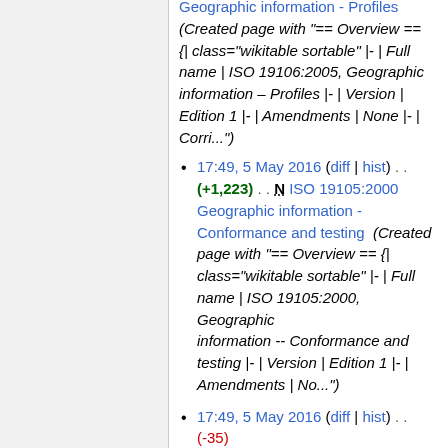Geographic information - Profiles (Created page with "== Overview == {| class="wikitable sortable" |- | Full name | ISO 19106:2005, Geographic information – Profiles |- | Version | Edition 1 |- | Amendments | None |- | Corri...")
17:49, 5 May 2016 (diff | hist) . . (+1,223) . . N ISO 19105:2000 Geographic information - Conformance and testing (Created page with "== Overview == {| class="wikitable sortable" |- | Full name | ISO 19105:2000, Geographic information -- Conformance and testing |- | Version | Edition 1 |- | Amendments | No...")
17:49, 5 May 2016 (diff | hist) . . (-35) . . ISO 19103:2015 Geographic information - Conceptual schema